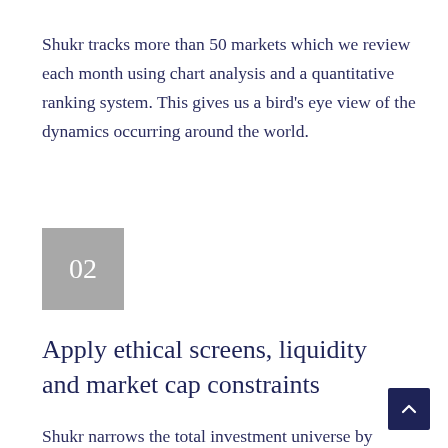Shukr tracks more than 50 markets which we review each month using chart analysis and a quantitative ranking system. This gives us a bird's eye view of the dynamics occurring around the world.
[Figure (other): Grey square box with white number '02' inside, serving as a section number indicator.]
Apply ethical screens, liquidity and market cap constraints
Shukr narrows the total investment universe by